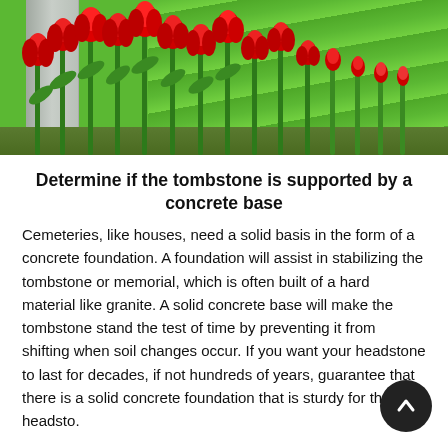[Figure (photo): Photo of red tulips growing along a concrete/stone wall border with green striped grass lawn in background]
Determine if the tombstone is supported by a concrete base
Cemeteries, like houses, need a solid basis in the form of a concrete foundation. A foundation will assist in stabilizing the tombstone or memorial, which is often built of a hard material like granite. A solid concrete base will make the tombstone stand the test of time by preventing it from shifting when soil changes occur. If you want your headstone to last for decades, if not hundreds of years, guarantee that there is a solid concrete foundation that is sturdy for the headsto.